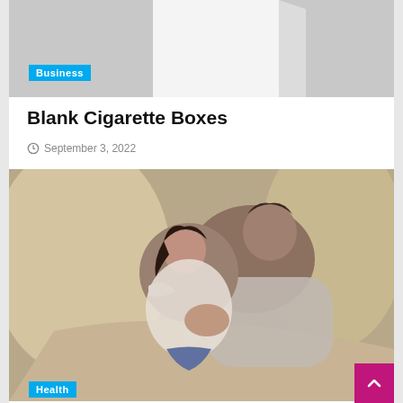[Figure (photo): Top portion of a webpage showing a blank white cigarette box on a gray background]
Business
Blank Cigarette Boxes
September 3, 2022
[Figure (photo): A couple lying together cuddling on a couch, the woman resting her head on the man's chest]
Health
Benefiting of Cuddling With Your Loved Ones